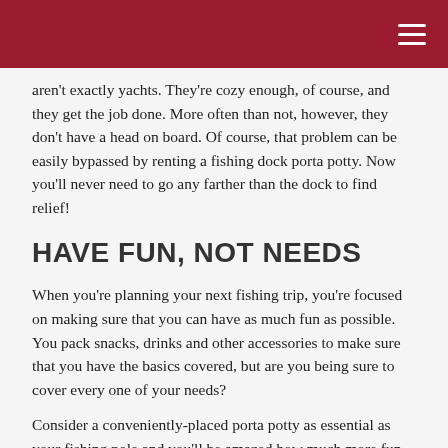aren't exactly yachts. They're cozy enough, of course, and they get the job done. More often than not, however, they don't have a head on board. Of course, that problem can be easily bypassed by renting a fishing dock porta potty. Now you'll never need to go any farther than the dock to find relief!
HAVE FUN, NOT NEEDS
When you're planning your next fishing trip, you're focused on making sure that you can have as much fun as possible. You pack snacks, drinks and other accessories to make sure that you have the basics covered, but are you being sure to cover every one of your needs?
Consider a conveniently-placed porta potty as essential as your fishing pole and you'll be amazed how much more fun you can have.